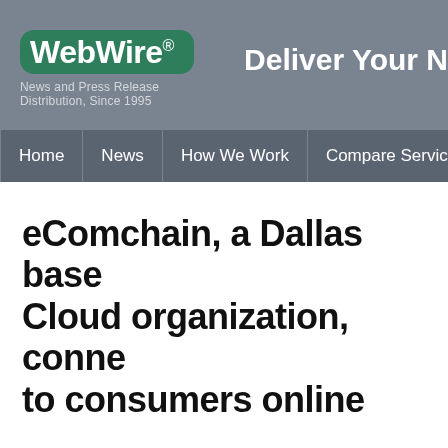WebWire® News and Press Release Distribution, Since 1995 | Deliver Your N
Home | News | How We Work | Compare Services
eComchain, a Dallas base Cloud organization, conne to consumers online
There's no other eCommerce platform, like eCo supply chain starting from manufacturers to the could be multiple distributors and retailers betw launched early this year, is making waves globa tons of B2B2B2C (that includes manufacturers, reaching out to the end consumers) features no eCommerce solutions.